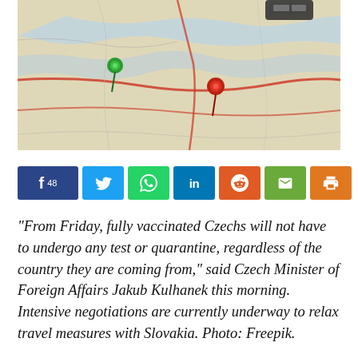[Figure (photo): Aerial view of a colorful road map with two pushpins — a green pin on the left and a red pin in the center — and a toy car or model vehicle at the top. Photo credit: Freepik.]
[Figure (infographic): Social sharing bar with buttons: Facebook (f 48), Twitter, WhatsApp, LinkedIn (in), Reddit, Email (envelope icon), Print (printer icon).]
“From Friday, fully vaccinated Czechs will not have to undergo any test or quarantine, regardless of the country they are coming from,” said Czech Minister of Foreign Affairs Jakub Kulhanek this morning. Intensive negotiations are currently underway to relax travel measures with Slovakia. Photo: Freepik.